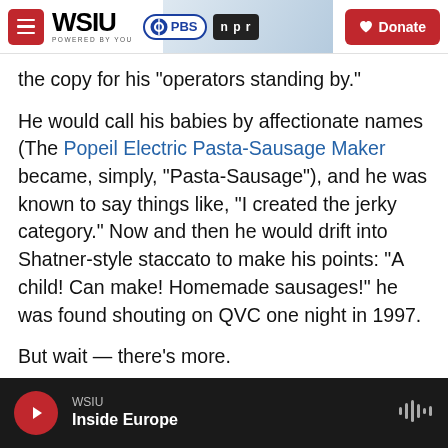WSIU POWERED BY YOU | PBS | npr | Donate
the copy for his "operators standing by."
He would call his babies by affectionate names (The Popeil Electric Pasta-Sausage Maker became, simply, "Pasta-Sausage"), and he was known to say things like, "I created the jerky category." Now and then he would drift into Shatner-style staccato to make his points: "A child! Can make! Homemade sausages!" he was found shouting on QVC one night in 1997.
But wait — there's more.
WSIU | Inside Europe